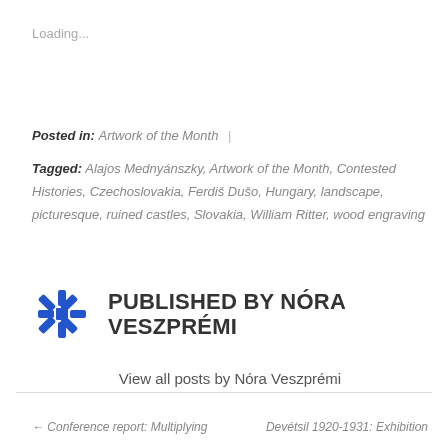Loading...
Posted in: Artwork of the Month  |
Tagged: Alajos Mednyánszky, Artwork of the Month, Contested Histories, Czechoslovakia, Ferdiš Dušo, Hungary, landscape, picturesque, ruined castles, Slovakia, William Ritter, wood engraving
[Figure (logo): Blue star-burst / asterisk logo for Nóra Veszprémi]
PUBLISHED BY NÓRA VESZPRÉMI
View all posts by Nóra Veszprémi
← Conference report: Multiplying   Devétsil 1920-1931: Exhibition